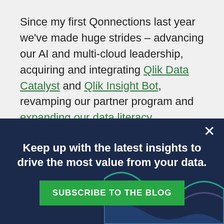Since my first Qonnections last year we've made huge strides – advancing our AI and multi-cloud leadership, acquiring and integrating Qlik Data Catalyst and Qlik Insight Bot, revamping our partner program and expanding our data literacy leadership.
[Figure (infographic): Dark navy blue promotional banner with close (X) button, bold white text 'Keep up with the latest insights to drive the most value from your data.', a green 'SUBSCRIBE TO THE BLOG' button, and decorative wave lines in teal and purple at the bottom right.]